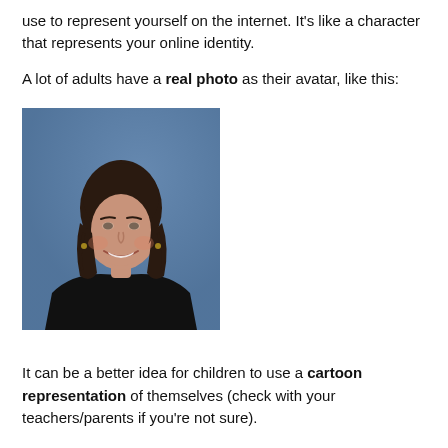use to represent yourself on the internet. It's like a character that represents your online identity.
A lot of adults have a real photo as their avatar, like this:
[Figure (photo): Professional headshot portrait of a smiling woman with dark shoulder-length hair wearing a black top, photographed against a blue background.]
It can be a better idea for children to use a cartoon representation of themselves (check with your teachers/parents if you're not sure).